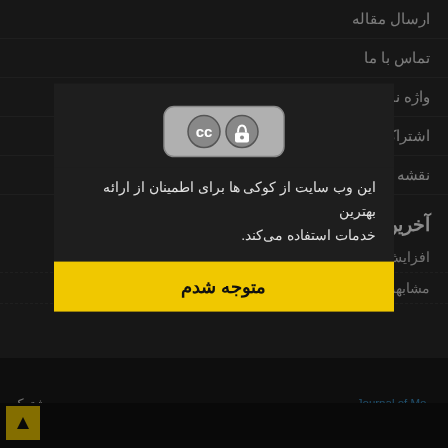ارسال مقاله
تماس با ما
واژه نامه اختصاصی
اشتراک نسخه چاپی نشریه
نقشه سایت
آخرین اخبار
افزایش ضریب تاثیر مجله 1400-09-02
مشابهت یابی مقالات 1400-08-11
[Figure (other): Creative Commons license icon (CC BY)]
این وب سایت از کوکی ها برای اطمینان از ارائه بهترین خدمات استفاده می‌کند.
متوجه شدم
Journal of Mo...
ریه مشترک